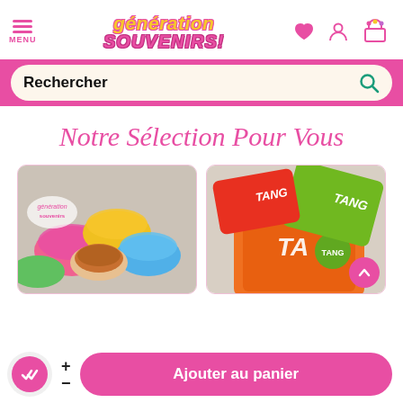MENU — Génération Souvenirs logo — heart, user, cart icons
Rechercher
Notre Sélection Pour Vous
[Figure (photo): Colorful silicone cupcake molds with caramel sauce]
[Figure (photo): Tang drink powder sachets in orange and green flavors]
Ajouter au panier